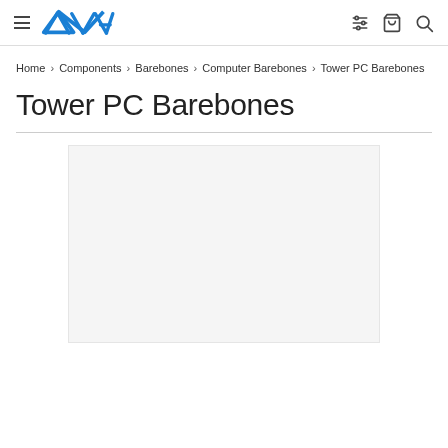AVA logo with hamburger menu, filter icon, cart icon, search icon
Home › Components › Barebones › Computer Barebones › Tower PC Barebones
Tower PC Barebones
[Figure (other): Product listing image area - light gray placeholder box]